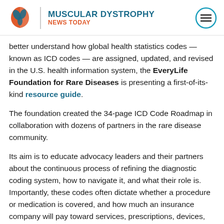MUSCULAR DYSTROPHY NEWS TODAY
better understand how global health statistics codes — known as ICD codes — are assigned, updated, and revised in the U.S. health information system, the EveryLife Foundation for Rare Diseases is presenting a first-of-its-kind resource guide.
The foundation created the 34-page ICD Code Roadmap in collaboration with dozens of partners in the rare disease community.
Its aim is to educate advocacy leaders and their partners about the continuous process of refining the diagnostic coding system, how to navigate it, and what their role is. Importantly, these codes often dictate whether a procedure or medication is covered, and how much an insurance company will pay toward services, prescriptions, devices, and/or vaccines.